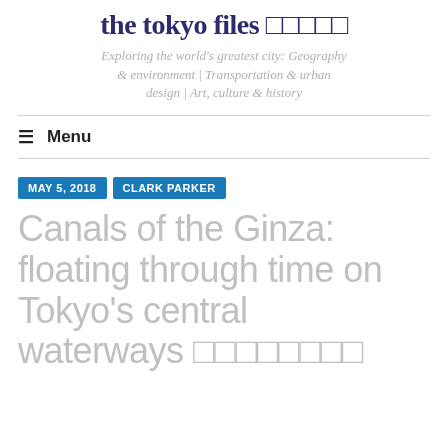the tokyo files □□□□□
Exploring the world’s greatest city: Geography & environment | Transportation & urban design | Art, culture & history
☰  Menu
MAY 5, 2018
CLARK PARKER
Canals of the Ginza: floating through time on Tokyo’s central waterways □□□□□□□□